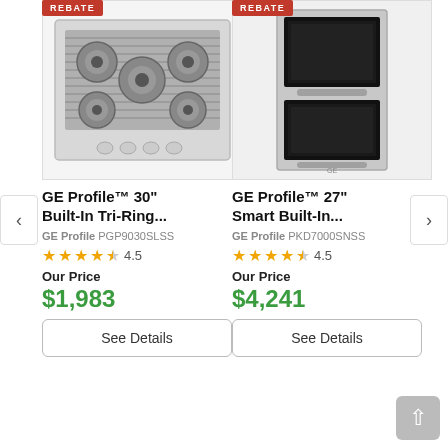[Figure (photo): GE Profile 30-inch built-in gas cooktop with 5 burners in stainless steel, top-down view]
REBATE
GE Profile™ 30" Built-In Tri-Ring...
GE Profile PGP9030SLSS
4.5
Our Price
$1,983
See Details
[Figure (photo): GE Profile 27-inch smart double wall oven in stainless steel, front view showing two oven cavities]
REBATE
GE Profile™ 27" Smart Built-In...
GE Profile PKD7000SNSS
4.5
Our Price
$4,241
See Details